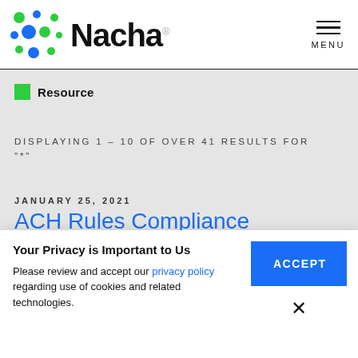[Figure (logo): Nacha logo with colorful dot grid pattern and Nacha wordmark]
MENU
Resource
DISPLAYING 1 - 10 OF OVER 41 RESULTS FOR "*"
JANUARY 25, 2021
ACH Rules Compliance
Your Privacy is Important to Us
Please review and accept our privacy policy regarding use of cookies and related technologies.
ACCEPT